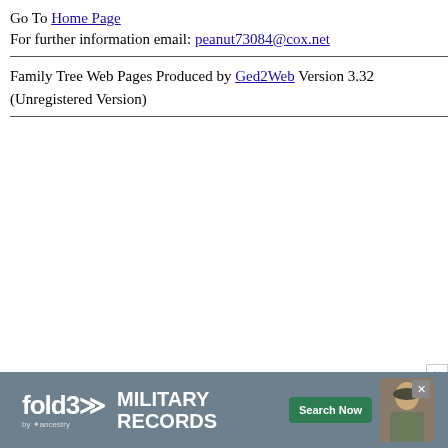Go To Home Page
For further information email: peanut73084@cox.net
Family Tree Web Pages Produced by Ged2Web Version 3.32 (Unregistered Version)
[Figure (other): fold3 by Ancestry advertisement banner for Military Records with Search Now button and a photo of a military officer]